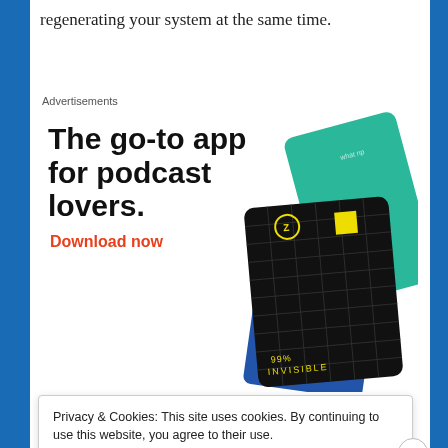regenerating your system at the same time.
Advertisements
[Figure (infographic): Advertisement for a podcast app. Bold black text reads 'The go-to app for podcast lovers.' with an orange-red 'Download now' call-to-action link. On the right side are illustrated app cards including a dark grid card labeled '99% INVISIBLE' with a yellow square, and a green card with cursive 'On' text.]
Privacy & Cookies: This site uses cookies. By continuing to use this website, you agree to their use.
To find out more, including how to control cookies, see here: Cookie Policy
Close and accept